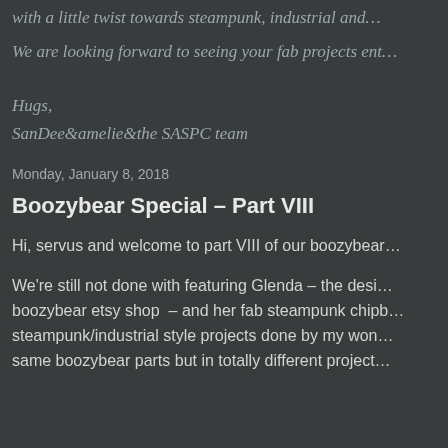with a little twist towards steampunk, industrial and…
We are looking forward to seeing your fab projects ent…
Hugs,
SanDee&amelie&the SASPC team
Monday, January 8, 2018
Boozybear Special – Part VIII
Hi, servus and welcome to part VIII of our boozybear…
We're still not done with featuring Glenda – the desi… boozybear etsy shop – and her fab steampunk chipb… steampunk/industrial style projects done by my won… same boozybear parts but in totally different project…